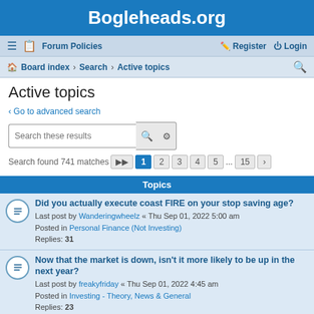Bogleheads.org
≡ Forum Policies   Register Login
Board index › Search › Active topics
Active topics
Go to advanced search
Search these results
Search found 741 matches  1 2 3 4 5 ... 15
Topics
Did you actually execute coast FIRE on your stop saving age?
Last post by Wanderingwheelz « Thu Sep 01, 2022 5:00 am
Posted in Personal Finance (Not Investing)
Replies: 31
Now that the market is down, isn't it more likely to be up in the next year?
Last post by freakyfriday « Thu Sep 01, 2022 4:45 am
Posted in Investing - Theory, News & General
Replies: 23
A Change in Vanguard Flagship Service
Last post by iebmke « Thu Sep 01, 2022 4:35 am